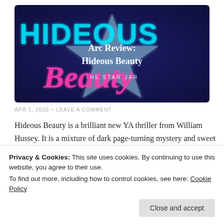[Figure (illustration): Blog header image for 'ARC Review: Hideous Beauty' by The Star Jar. Dark blue forest background with neon cyan letters spelling HIDEOUS, pink neon cursive text 'Beauty', and a light blue star shape in the center. White text reads 'ARC Review: Hideous Beauty' with 'THE STAR JAR' below.]
APR 1, 2020 ~ LEAVE A COMMENT
Hideous Beauty is a brilliant new YA thriller from William Hussey. It is a mixture of dark page-turning mystery and sweet LGBTQ+ love story. Be prepared
Privacy & Cookies: This site uses cookies. By continuing to use this website, you agree to their use.
To find out more, including how to control cookies, see here: Cookie Policy